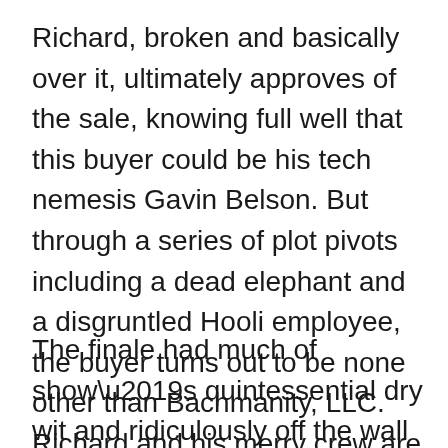Richard, broken and basically over it, ultimately approves of the sale, knowing full well that this buyer could be his tech nemesis Gavin Belson. But through a series of plot pivots including a dead elephant and a disgruntled Hooli employee, the buyer turns out to be none other than Bachmanity, LLC. Richard and his merry crew are now back in control of their destiny, at least for the remainder of the season.
The finale had much of show’s quintessential dry wit and ridiculously off the wall humor, but there were certain moments that called for some light head scratching, including Evan’s profession of